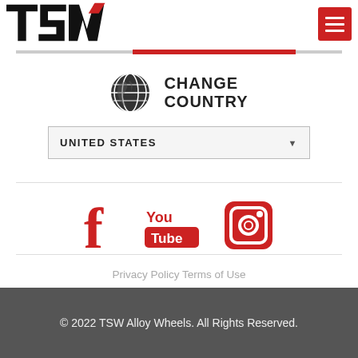[Figure (logo): TSW logo in black italic bold font with a red diagonal slash accent, on white background]
[Figure (illustration): Red hamburger menu button (three horizontal white lines on red background)]
CHANGE COUNTRY
UNITED STATES
[Figure (illustration): Social media icons: Facebook (red f), YouTube (red You/Tube), Instagram (red camera icon)]
Privacy Policy Terms of Use
© 2022 TSW Alloy Wheels. All Rights Reserved.